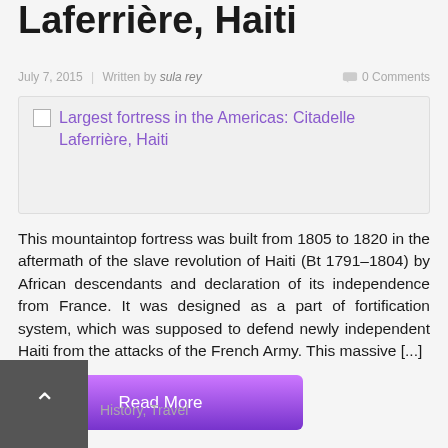Laferrière, Haiti
July 7, 2015 | Written by sula rey    0 Comments
[Figure (photo): Broken image placeholder: Largest fortress in the Americas: Citadelle Laferrière, Haiti]
This mountaintop fortress was built from 1805 to 1820 in the aftermath of the slave revolution of Haiti (Bt 1791–1804) by African descendants and declaration of its independence from France. It was designed as a part of fortification system, which was supposed to defend newly independent Haiti from the attacks of the French Army. This massive [...]
Read More
History, Travel